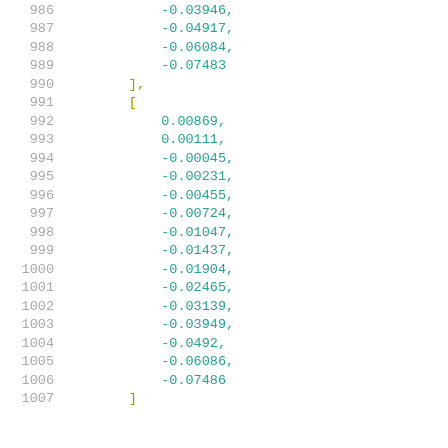Code listing showing numerical array data, lines 986-1007, with line numbers in gray and values in teal/cyan color, brackets in gold.